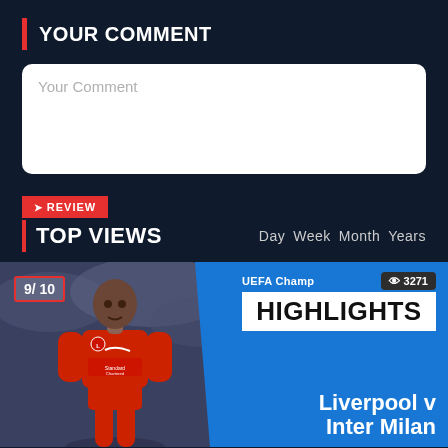YOUR COMMENT
Your Comment
REVIEW
TOP VIEWS
Day Week Month Years
[Figure (screenshot): Football match highlight card showing a Liverpool player in red kit, score badge 9/10, UEFA Champions League label, view count 3271, HIGHLIGHTS banner, and match title Liverpool v Inter Milan on blue background]